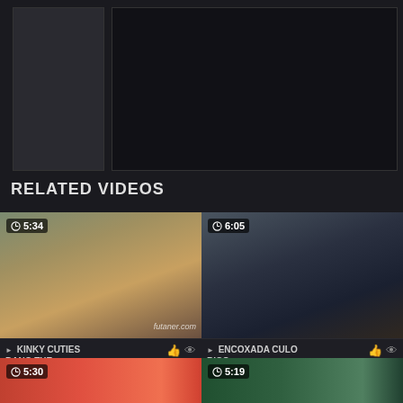[Figure (screenshot): Video player area with sidebar thumbnail and main dark player window]
RELATED VIDEOS
[Figure (screenshot): Video thumbnail left: 5:34 - KINKY CUTIES BANG THE, NOT RATED, 5294 views]
[Figure (screenshot): Video thumbnail right: 6:05 - ENCOXADA CULO RICO, 0%, 11140 views]
[Figure (screenshot): Video thumbnail bottom left: 5:30]
[Figure (screenshot): Video thumbnail bottom right: 5:19]